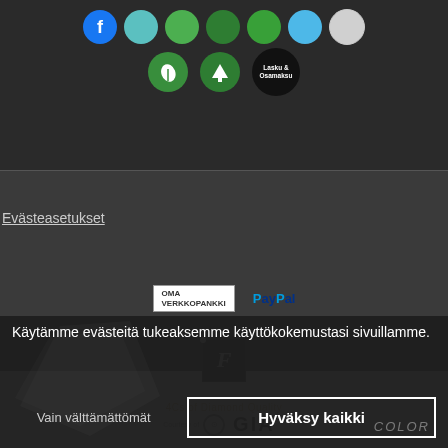[Figure (screenshot): Row of payment method circular icons on dark background: Facebook (blue), teal, green, dark green, green, light blue, gray]
[Figure (screenshot): Second row of circular icons: green leaf, green tree, black circle with 'Lasku & Osamaksu' text]
[Figure (screenshot): Bank logos: OMA VERKKOPANKKI box and PayPal logo]
Evästeasetukset
[Figure (logo): Facebook F icon in dark box]
[Figure (logo): 4Cs of Diamond Quality courtesy of GIA logo]
Käytämme evästeitä tukeaksemme käyttökokemustasi sivuillamme.
Vain välttämättömät
Hyväksy kaikki